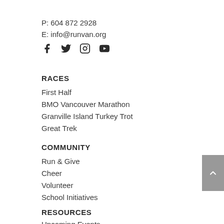P: 604 872 2928
E: info@runvan.org
[Figure (illustration): Social media icons: Facebook, Twitter, Instagram, YouTube]
RACES
First Half
BMO Vancouver Marathon
Granville Island Turkey Trot
Great Trek
COMMUNITY
Run & Give
Cheer
Volunteer
School Initiatives
RESOURCES
Upcoming Events